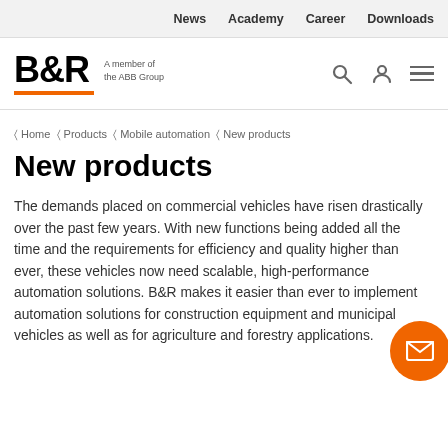News   Academy   Career   Downloads
[Figure (logo): B&R logo with orange underline and text 'A member of the ABB Group', plus search, user, and hamburger icons]
Home  Products  Mobile automation  New products
New products
The demands placed on commercial vehicles have risen drastically over the past few years. With new functions being added all the time and the requirements for efficiency and quality higher than ever, these vehicles now need scalable, high-performance automation solutions. B&R makes it easier than ever to implement automation solutions for construction equipment and municipal vehicles as well as for agriculture and forestry applications.